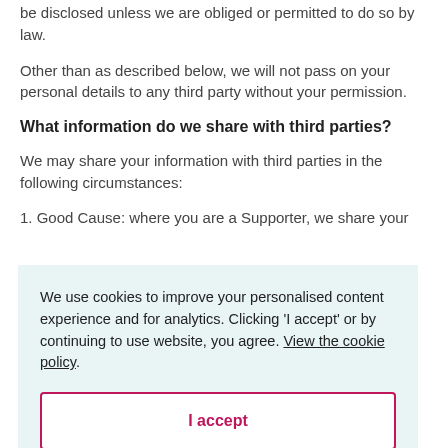be disclosed unless we are obliged or permitted to do so by law.
Other than as described below, we will not pass on your personal details to any third party without your permission.
What information do we share with third parties?
We may share your information with third parties in the following circumstances:
1. Good Cause: where you are a Supporter, we share your
We use cookies to improve your personalised content experience and for analytics. Clicking 'I accept' or by continuing to use website, you agree. View the cookie policy.
I accept
Cause: